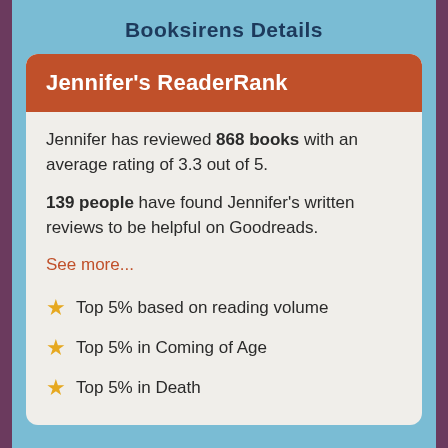Booksirens Details
Jennifer's ReaderRank
Jennifer has reviewed 868 books with an average rating of 3.3 out of 5.
139 people have found Jennifer’s written reviews to be helpful on Goodreads.
See more...
Top 5% based on reading volume
Top 5% in Coming of Age
Top 5% in Death